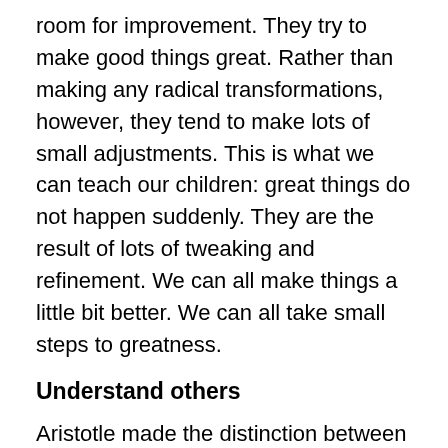room for improvement. They try to make good things great. Rather than making any radical transformations, however, they tend to make lots of small adjustments. This is what we can teach our children: great things do not happen suddenly. They are the result of lots of tweaking and refinement. We can all make things a little bit better. We can all take small steps to greatness.
Understand others
Aristotle made the distinction between what he called sophia and phronesis. Sophia was wisdom of the world – what came to be called science. He spoke of the importance of understanding how the world works. However, he also stressed that, in itself, this was not enough for civilisation to flourish. Society also needed phronesis. This was the application of this wisdom in the service of others. Thousands of years later, Aristotle's words are just as true. Successful people use what they know to try to be useful to others. Instead of asking 'What's in it for me?' they ask 'What can I